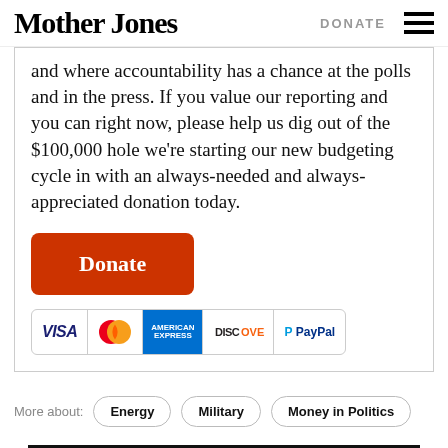Mother Jones | DONATE
and where accountability has a chance at the polls and in the press. If you value our reporting and you can right now, please help us dig out of the $100,000 hole we're starting our new budgeting cycle in with an always-needed and always-appreciated donation today.
[Figure (other): Orange Donate button with white text, followed by a row of payment icons: VISA, MasterCard, American Express, Discover, PayPal]
More about: Energy  Military  Money in Politics
RELATED